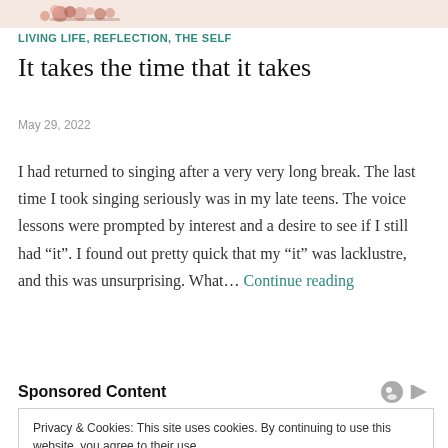[Figure (illustration): Decorative floral/figurative image strip at top of page]
LIVING LIFE, REFLECTION, THE SELF
It takes the time that it takes
May 29, 2022
I had returned to singing after a very very long break. The last time I took singing seriously was in my late teens. The voice lessons were prompted by interest and a desire to see if I still had "it". I found out pretty quick that my "it" was lacklustre, and this was unsurprising. What… Continue reading
Sponsored Content
Privacy & Cookies: This site uses cookies. By continuing to use this website, you agree to their use.
To find out more, including how to control cookies, see here: Cookie Policy
Close and accept